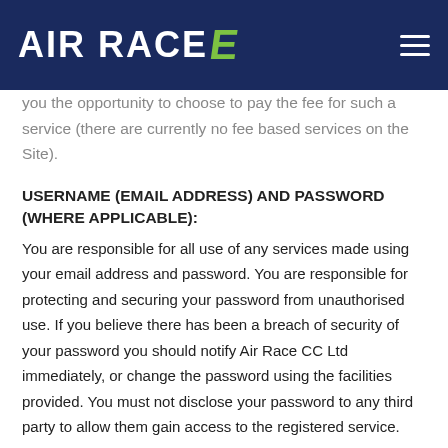AIR RACE E
you the opportunity to choose to pay the fee for such a service (there are currently no fee based services on the Site).
USERNAME (EMAIL ADDRESS) AND PASSWORD (WHERE APPLICABLE):
You are responsible for all use of any services made using your email address and password. You are responsible for protecting and securing your password from unauthorised use. If you believe there has been a breach of security of your password you should notify Air Race CC Ltd immediately, or change the password using the facilities provided. You must not disclose your password to any third party to allow them gain access to the registered service.
The...